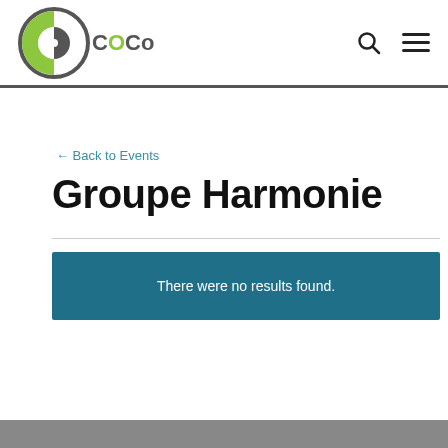CoCo logo navigation header with search and menu icons
← Back to Events
Groupe Harmonie
There were no results found.